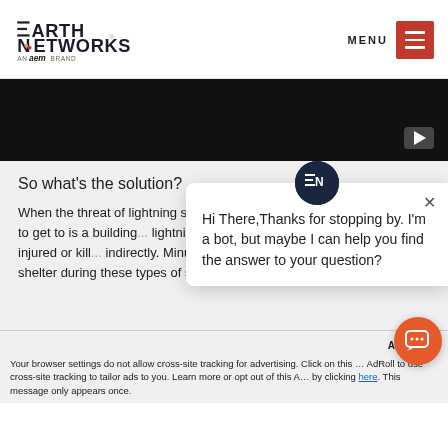[Figure (logo): Earth Networks - An aem Brand logo]
[Figure (screenshot): Dark video player area with YouTube play button icon in bottom right]
So what's the solution?
When the threat of lightning s... seek shelter under an overha... shelter to get to is a building... lightning striking a human can... people that are injured or kill... indirectly. Minutes matter when it comes to seeking shelter during these types of storms, which is why earth networks...
[Figure (screenshot): Chat bot overlay popup: EN avatar logo, close X button, message: Hi There, Thanks for stopping by. I'm a bot, but maybe I can help you find the answer to your question?]
Your browser settings do not allow cross-site tracking for advertising. Click on this ... AdRoll to use cross-site tracking to tailor ads to you. Learn more or opt out of this A... by clicking here. This message only appears once.